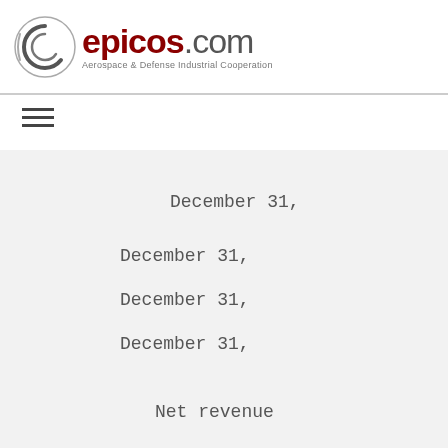epicos.com — Aerospace & Defense Industrial Cooperation
December 31,
December 31,
December 31,
December 31,
Net revenue